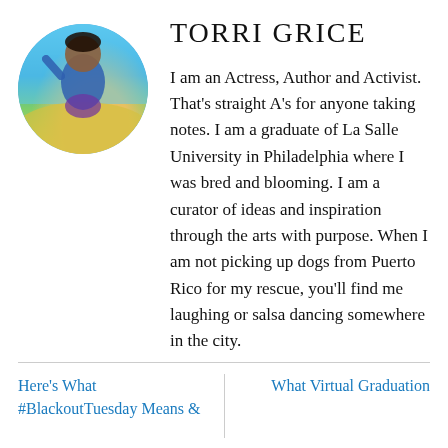[Figure (photo): Circular profile photo of Torri Grice outdoors, wearing a blue outfit, with yellow flowers in background and blue sky]
TORRI GRICE
I am an Actress, Author and Activist. That's straight A's for anyone taking notes. I am a graduate of La Salle University in Philadelphia where I was bred and blooming. I am a curator of ideas and inspiration through the arts with purpose. When I am not picking up dogs from Puerto Rico for my rescue, you'll find me laughing or salsa dancing somewhere in the city.
Here's What #BlackoutTuesday Means &
What Virtual Graduation